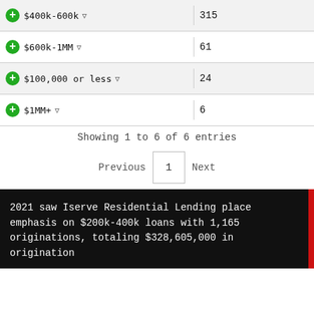| Category | Count |
| --- | --- |
| $400k-600k | 315 |
| $600k-1MM | 61 |
| $100,000 or less | 24 |
| $1MM+ | 6 |
Showing 1 to 6 of 6 entries
Previous  1  Next
2021 saw Iserve Residential Lending place emphasis on $200k-400k loans with 1,165 originations, totaling $328,605,000 in origination